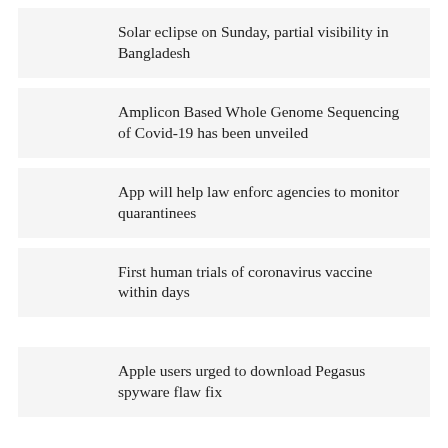Solar eclipse on Sunday, partial visibility in Bangladesh
Amplicon Based Whole Genome Sequencing of Covid-19 has been unveiled
App will help law enforc agencies to monitor quarantinees
First human trials of coronavirus vaccine within days
Apple users urged to download Pegasus spyware flaw fix